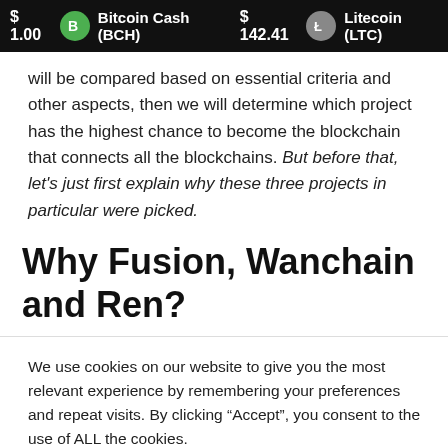$1.00  Bitcoin Cash (BCH)  $142.41  Litecoin (LTC)
will be compared based on essential criteria and other aspects, then we will determine which project has the highest chance to become the blockchain that connects all the blockchains. But before that, let's just first explain why these three projects in particular were picked.
Why Fusion, Wanchain and Ren?
We use cookies on our website to give you the most relevant experience by remembering your preferences and repeat visits. By clicking “Accept”, you consent to the use of ALL the cookies.
Do not sell my personal information.
Cookie settings  ACCEPT